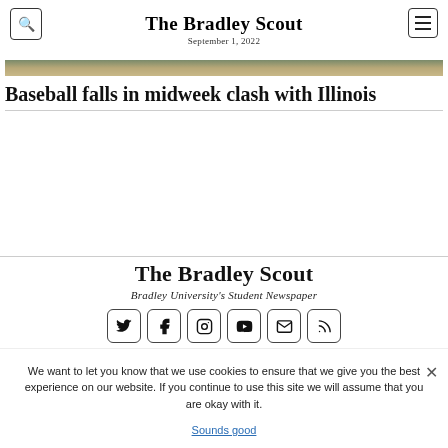The Bradley Scout
September 1, 2022
[Figure (photo): Partial photo strip showing a baseball field or outdoor scene with greenish-brown tones.]
Baseball falls in midweek clash with Illinois
The Bradley Scout
Bradley University's Student Newspaper
[Figure (infographic): Row of social media icon buttons: Twitter, Facebook, Instagram, YouTube, Email, RSS]
We want to let you know that we use cookies to ensure that we give you the best experience on our website. If you continue to use this site we will assume that you are okay with it.
Sounds good